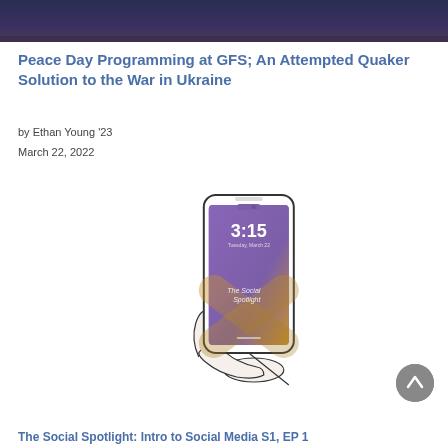[Figure (photo): Dark blue/navy background photo at top of page, likely showing a room interior]
Peace Day Programming at GFS; An Attempted Quaker Solution to the War in Ukraine
by Ethan Young '23
March 22, 2022
[Figure (illustration): Line drawing illustration of a hand holding a smartphone displaying a purple/gold lock screen with the time 3:15 and text 'The Social Spotlight']
The Social Spotlight: Intro to Social Media S1, EP 1